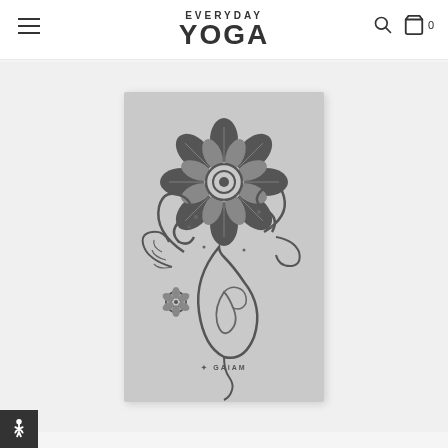EVERYDAY YOGA
[Figure (photo): A gray yoga mat with dark mandala and paisley henna-style floral pattern printed on it, with GAIAM brand logo at the bottom, displayed on a light gray background]
[Figure (other): Accessibility button with person icon in bottom left corner]